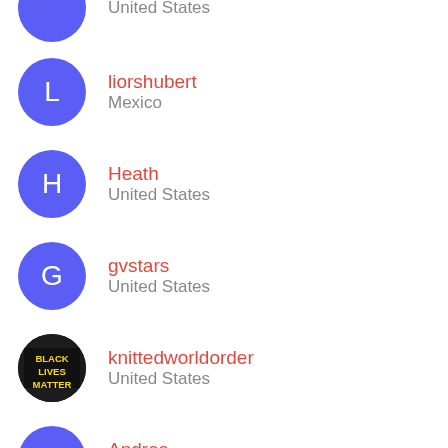United States (partial top avatar)
liorshubert — Mexico
Heath — United States
gvstars — United States
knittedworldorder — United States
Andres — Spain
(partial bottom avatar)